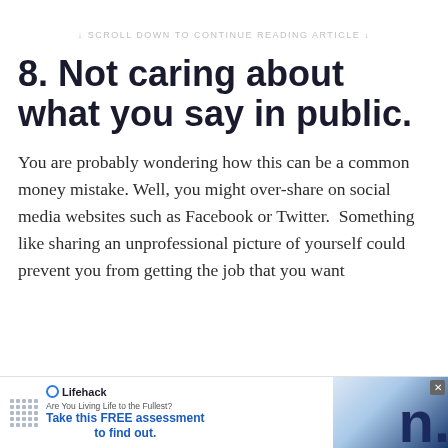↓ SCROLL DOWN TO CONTINUE READING ARTICLE ↓
8. Not caring about what you say in public.
You are probably wondering how this can be a common money mistake. Well, you might over-share on social media websites such as Facebook or Twitter.  Something like sharing an unprofessional picture of yourself could prevent you from getting the job that you want
[Figure (infographic): Lifehack advertisement banner: Are You Living Life to the Fullest? Take this FREE assessment to find out. Features Lifehack logo and a partial image with the letter n visible.]